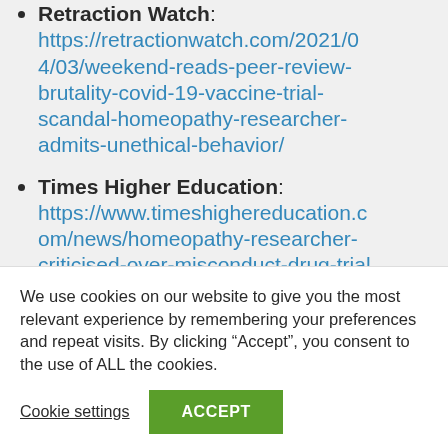Retraction Watch: https://retractionwatch.com/2021/04/03/weekend-reads-peer-review-brutality-covid-19-vaccine-trial-scandal-homeopathy-researcher-admits-unethical-behavior/
Times Higher Education: https://www.timeshighereducation.com/news/homeopathy-researcher-criticised-over-misconduct-drug-trial
Link to video:
We use cookies on our website to give you the most relevant experience by remembering your preferences and repeat visits. By clicking “Accept”, you consent to the use of ALL the cookies.